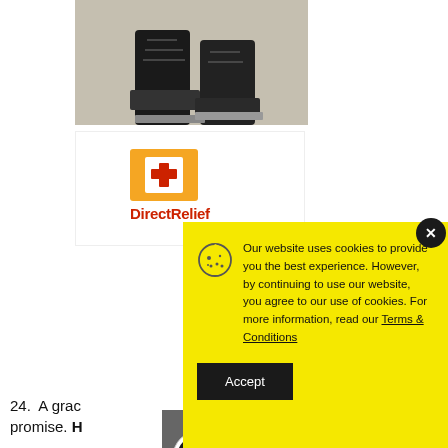[Figure (photo): Photo of person's feet/boots on a light surface, cropped at top of page]
[Figure (logo): Direct Relief logo — orange/yellow square with medical symbol and red 'DirectRelief' text]
24.  A grac… promise. H…
25.  Th…
[Figure (screenshot): Cookie consent overlay: yellow background with cookie icon and text 'Our website uses cookies to provide you the best experience. However, by continuing to use our website, you agree to our use of cookies. For more information, read our Terms & Conditions' with Accept button. Close (X) button in dark circle at top right.]
[Figure (screenshot): Video player overlay showing 'No compatible source was found for this media.' on dark background with video controls]
[Figure (logo): FineAuto circular badge logo]
Our website uses cookies to provide you the best experience. However, by continuing to use our website, you agree to our use of cookies. For more information, read our Terms & Conditions
Accept